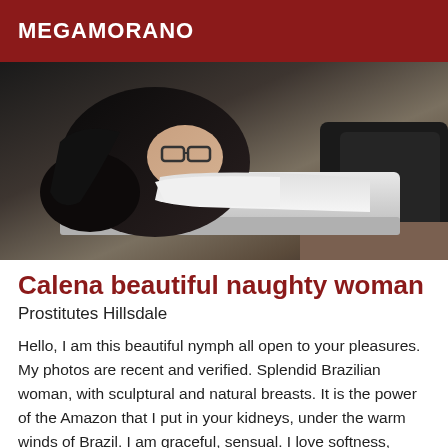MEGAMORANO
[Figure (photo): Woman with dark hair and glasses lying on a white desk, wearing a white shirt, with a dark leather chair visible in background]
Calena beautiful naughty woman
Prostitutes Hillsdale
Hello, I am this beautiful nymph all open to your pleasures. My photos are recent and verified. Splendid Brazilian woman, with sculptural and natural breasts. It is the power of the Amazon that I put in your kidneys, under the warm winds of Brazil. I am graceful, sensual. I love softness, charm and complicity. I love massages, for your pleasure and mine. You will love it! I speak a lot of american but I donÂ?t write it so well. I receive in my